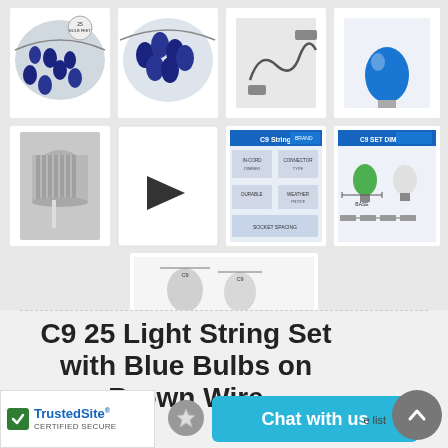[Figure (photo): Product image gallery showing C9 25 Light String Set with Blue Bulbs on Brown Wire. Top row: full string set view with badge, close-up of blue bulbs cluster, coiled wire connector, single blue C9 bulb. Bottom row: socket/holder close-up, video play button thumbnail, C9 Stringer diagram, C9 Set Dimensions diagram. Third row: C9 bulb size comparison diagram.]
C9 25 Light String Set with Blue Bulbs on Brown Wire
[Figure (logo): TrustedSite Certified Secure badge with green checkmark]
Chat with us
e list